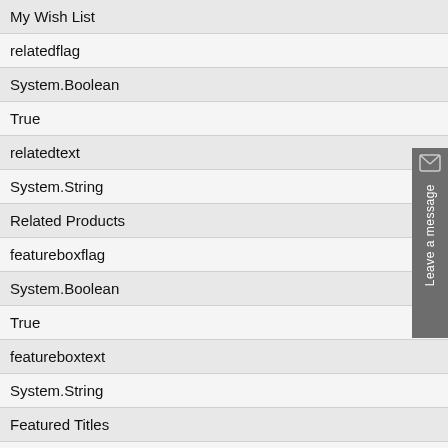| My Wish List |
| relatedflag |
| System.Boolean |
| True |
| relatedtext |
| System.String |
| Related Products |
| featureboxflag |
| System.Boolean |
| True |
| featureboxtext |
| System.String |
| Featured Titles |
| alsoboughtflag |
| System.Boolean |
| True |